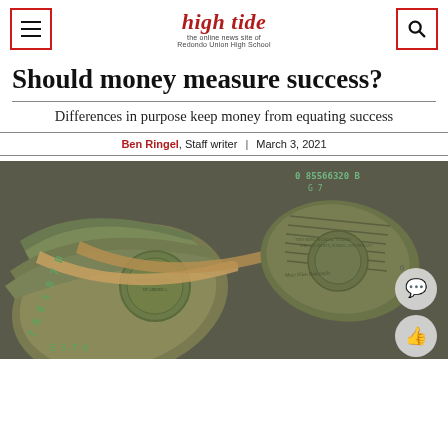high tide — the online news site of Redondo Union High School
Should money measure success?
Differences in purpose keep money from equating success
Ben Ringel, Staff writer | March 3, 2021
[Figure (photo): Close-up photo of rolled bundles of US hundred dollar bills secured with rubber bands, stacked together]